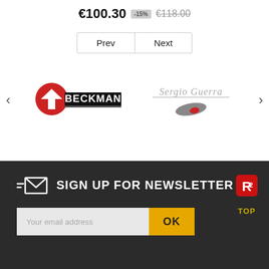€100.30  -15%  €118.00
Prev  Next
[Figure (logo): Beckman brand logo with red circle and arrow icon, black text BECKMAN]
[Figure (logo): Sergio Guerra brand logo with italic script text and fishing float image]
SIGN UP FOR NEWSLETTER
Your email address
OK
[Figure (logo): Red R2 logo icon]
TOP